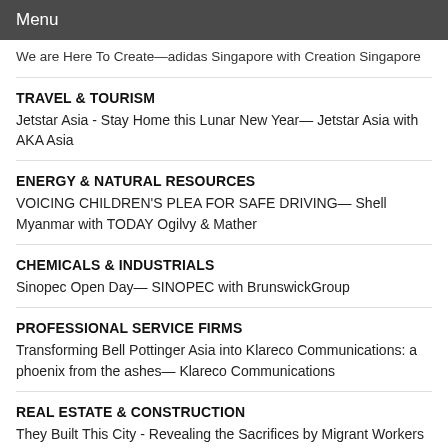Menu
We are Here To Create—adidas Singapore with Creation Singapore
TRAVEL & TOURISM
Jetstar Asia - Stay Home this Lunar New Year— Jetstar Asia with AKA Asia
ENERGY & NATURAL RESOURCES
VOICING CHILDREN'S PLEA FOR SAFE DRIVING— Shell Myanmar with TODAY Ogilvy & Mather
CHEMICALS & INDUSTRIALS
Sinopec Open Day— SINOPEC with BrunswickGroup
PROFESSIONAL SERVICE FIRMS
Transforming Bell Pottinger Asia into Klareco Communications: a phoenix from the ashes— Klareco Communications
REAL ESTATE & CONSTRUCTION
They Built This City - Revealing the Sacrifices by Migrant Workers